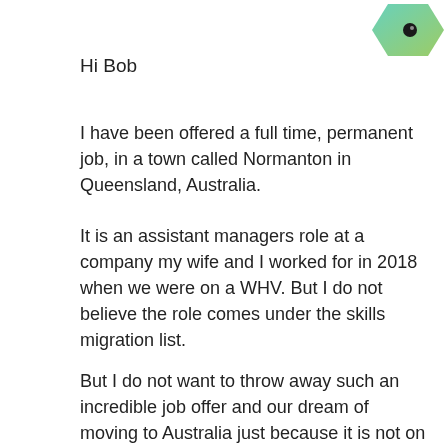[Figure (illustration): Green avatar icon, roughly circular with a black dot in the center, positioned in the top-right corner]
Hi Bob
I have been offered a full time, permanent job, in a town called Normanton in Queensland, Australia.
It is an assistant managers role at a company my wife and I worked for in 2018 when we were on a WHV. But I do not believe the role comes under the skills migration list.
But I do not want to throw away such an incredible job offer and our dream of moving to Australia just because it is not on the list.
He has offered the job to me as it is a rural location